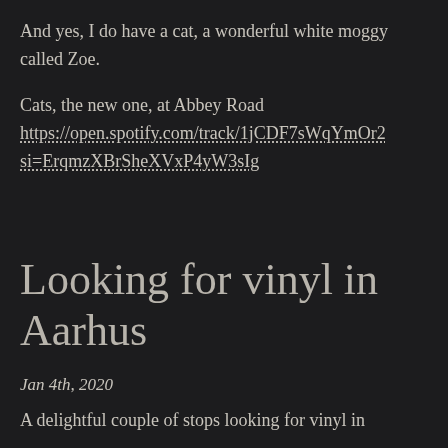And yes, I do have a cat, a wonderful white moggy called Zoe.
Cats, the new one, at Abbey Road https://open.spotify.com/track/1jCDF7sWqYmOr2si=ErqmzXBrSheXVxP4yW3sIg
Looking for vinyl in Aarhus
Jan 4th, 2020
A delightful couple of stops looking for vinyl in